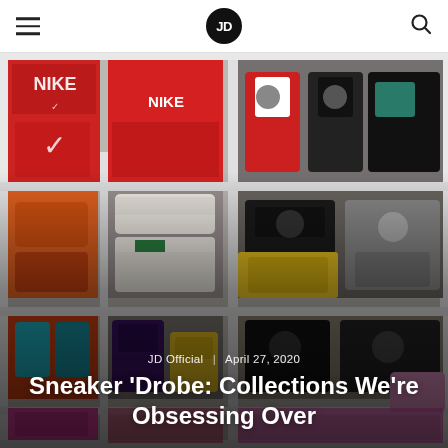JD Sports navigation header with hamburger menu, JD logo, and search icon
[Figure (photo): Wall of sneaker shelves filled with colorful sneakers and Nike/Jordan shoeboxes, serving as hero image background for an article]
JD Official  |  April 27, 2020
Sneaker ‘Drobe: Collections We’re Obsessing Over